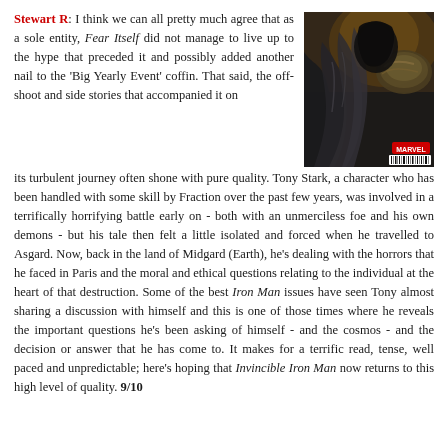[Figure (illustration): Comic book cover image showing a dark armored figure in a black cape/cloak, Marvel branding visible, with a barcode at bottom right.]
Stewart R: I think we can all pretty much agree that as a sole entity, Fear Itself did not manage to live up to the hype that preceded it and possibly added another nail to the 'Big Yearly Event' coffin. That said, the offshoot and side stories that accompanied it on its turbulent journey often shone with pure quality. Tony Stark, a character who has been handled with some skill by Fraction over the past few years, was involved in a terrifically horrifying battle early on - both with an unmerciless foe and his own demons - but his tale then felt a little isolated and forced when he travelled to Asgard. Now, back in the land of Midgard (Earth), he's dealing with the horrors that he faced in Paris and the moral and ethical questions relating to the individual at the heart of that destruction. Some of the best Iron Man issues have seen Tony almost sharing a discussion with himself and this is one of those times where he reveals the important questions he's been asking of himself - and the cosmos - and the decision or answer that he has come to. It makes for a terrific read, tense, well paced and unpredictable; here's hoping that Invincible Iron Man now returns to this high level of quality. 9/10